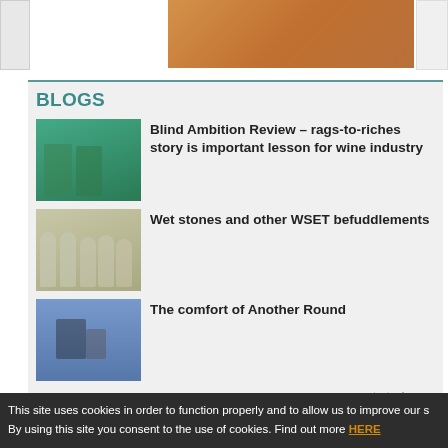[Figure (photo): Top partial image strip showing a person in orange top, cropped at top of page]
BLOGS
[Figure (photo): Blog thumbnail 1: people in green shirts]
Blind Ambition Review – rags-to-riches story is important lesson for wine industry
[Figure (photo): Blog thumbnail 2: wine glasses with white wine]
Wet stones and other WSET befuddlements
[Figure (photo): Blog thumbnail 3: crowd outdoors celebrating]
The comfort of Another Round
past stories »
JOBS
This site uses cookies in order to function properly and to allow us to improve our s By using this site you consent to the use of cookies. Find out more HERE